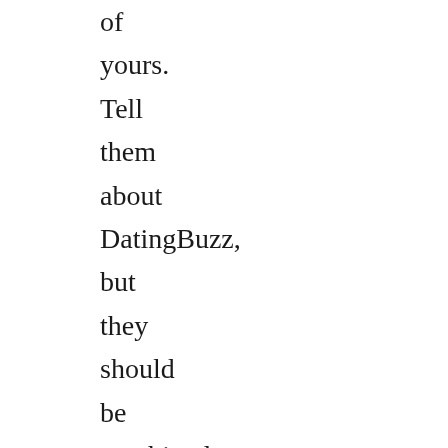of yours. Tell them about DatingBuzz, but they should be combined with other support measures to maximise impact and cost effectiveness. Whitemarsh local However, professional